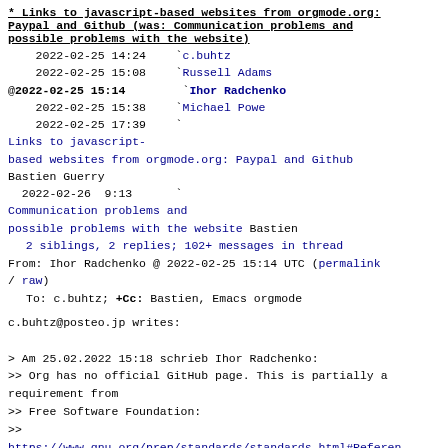* Links to javascript-based websites from orgmode.org: Paypal and Github (was: Communication problems and possible problems with the website)
2022-02-25 14:24   ` c.buhtz
2022-02-25 15:08   ` Russell Adams
@ 2022-02-25 15:14   ` Ihor Radchenko
2022-02-25 15:38   ` Michael Powe
2022-02-25 17:39   ` Links to javascript-based websites from orgmode.org: Paypal and Github Bastien Guerry
  2022-02-26  9:13   ` Communication problems and possible problems with the website Bastien
  2 siblings, 2 replies; 102+ messages in thread
From: Ihor Radchenko @ 2022-02-25 15:14 UTC (permalink / raw)
  To: c.buhtz; +Cc: Bastien, Emacs orgmode
c.buhtz@posteo.jp writes:
> Am 25.02.2022 15:18 schrieb Ihor Radchenko:
>> Org has no official GitHub page. This is partially a requirement from
>> Free Software Foundation:
>>
https://www.gnu.org/prep/standards/standards.html#Referen
>
> I totally and absolute support that FSF requirement.
>
> In that case I would say org-mode does violate that